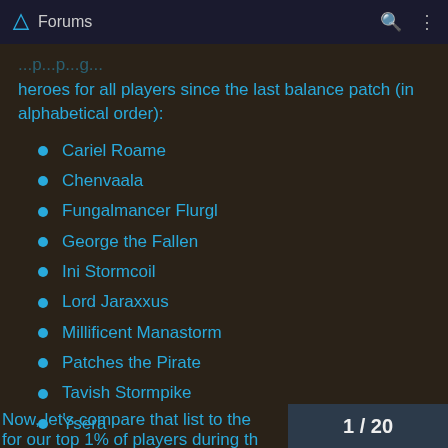Forums
heroes for all players since the last balance patch (in alphabetical order):
Cariel Roame
Chenvaala
Fungalmancer Flurgl
George the Fallen
Ini Stormcoil
Lord Jaraxxus
Millificent Manastorm
Patches the Pirate
Tavish Stormpike
Ysera
Now, let's compare that list to the
1 / 20
for our top 1% of players during th